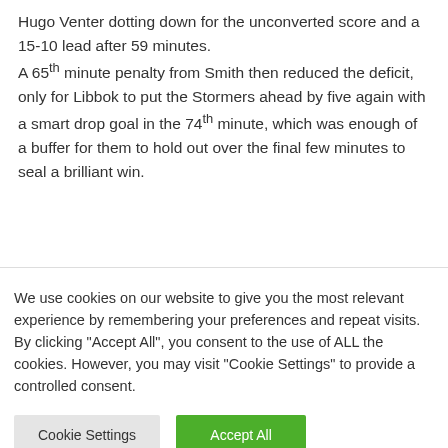Hugo Venter dotting down for the unconverted score and a 15-10 lead after 59 minutes.

A 65th minute penalty from Smith then reduced the deficit, only for Libbok to put the Stormers ahead by five again with a smart drop goal in the 74th minute, which was enough of a buffer for them to hold out over the final few minutes to seal a brilliant win.
We use cookies on our website to give you the most relevant experience by remembering your preferences and repeat visits. By clicking "Accept All", you consent to the use of ALL the cookies. However, you may visit "Cookie Settings" to provide a controlled consent.